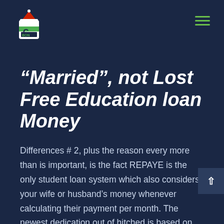“Married”, not Lost Free Education loan Money
Differences # 2, plus the reason every more than is important, is the fact REPAYE is the only student loan system which also considers your wife or husband’s money whenever calculating their payment per month. The newest dedication out of hitched is based on their federal income tax processing status, and one another “hitched filing